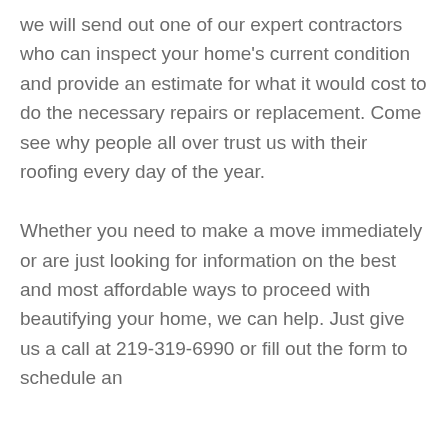we will send out one of our expert contractors who can inspect your home's current condition and provide an estimate for what it would cost to do the necessary repairs or replacement. Come see why people all over trust us with their roofing every day of the year.

Whether you need to make a move immediately or are just looking for information on the best and most affordable ways to proceed with beautifying your home, we can help. Just give us a call at 219-319-6990 or fill out the form to schedule an